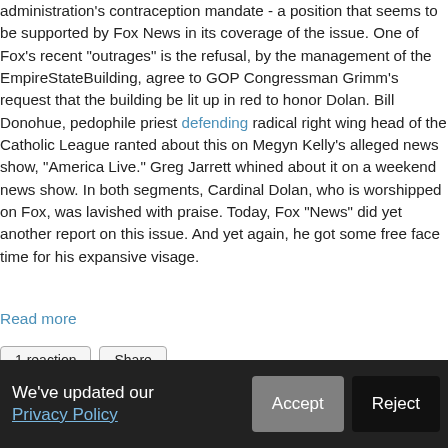administration's contraception mandate - a position that seems to be supported by Fox News in its coverage of the issue. One of Fox's recent "outrages" is the refusal, by the management of the EmpireStateBuilding, agree to GOP Congressman Grimm's request that the building be lit up in red to honor Dolan. Bill Donohue, pedophile priest defending radical right wing head of the Catholic League ranted about this on Megyn Kelly's alleged news show, "America Live." Greg Jarrett whined about it on a weekend news show. In both segments, Cardinal Dolan, who is worshipped on Fox, was lavished with praise. Today, Fox "News" did yet another report on this issue. And yet again, he got some free face time for his expansive visage.
Read more
1 reaction  Share
Fr. Jonathan Morris Not Pushing...
We've updated our Privacy Policy